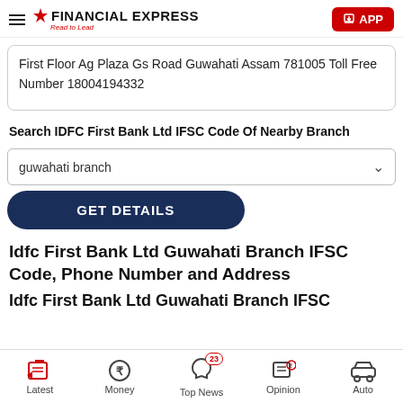Financial Express – Read to Lead
First Floor Ag Plaza Gs Road Guwahati Assam 781005 Toll Free Number 18004194332
Search IDFC First Bank Ltd IFSC Code Of Nearby Branch
guwahati branch
GET DETAILS
Idfc First Bank Ltd Guwahati Branch IFSC Code, Phone Number and Address
Idfc First Bank Ltd Guwahati Branch IFSC
Latest | Money | Top News 23 | Opinion | Auto